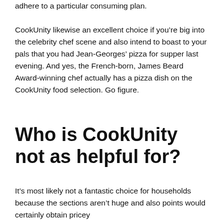adhere to a particular consuming plan.
CookUnity likewise an excellent choice if you’re big into the celebrity chef scene and also intend to boast to your pals that you had Jean-Georges’ pizza for supper last evening. And yes, the French-born, James Beard Award-winning chef actually has a pizza dish on the CookUnity food selection. Go figure.
Who is CookUnity not as helpful for?
It’s most likely not a fantastic choice for households because the sections aren’t huge and also points would certainly obtain pricey